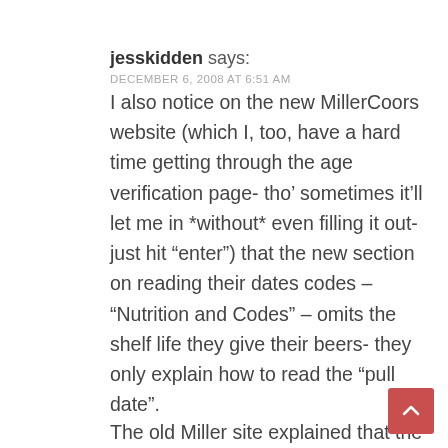jesskidden says:
DECEMBER 6, 2008 AT 6:51 AM
I also notice on the new MillerCoors website (which I, too, have a hard time getting through the age verification page- tho’ sometimes it’ll let me in *without* even filling it out- just hit “enter”) that the new section on reading their dates codes – “Nutrition and Codes” – omits the shelf life they give their beers- they only explain how to read the “pull date”.
The old Miller site explained that the